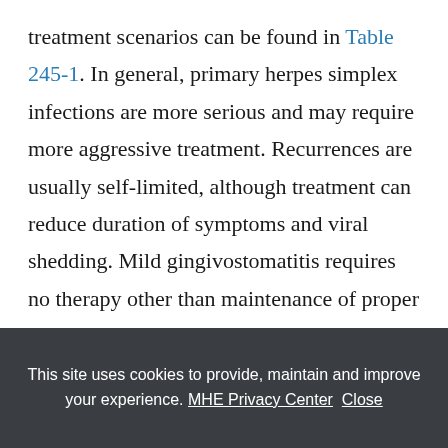treatment scenarios can be found in Table 245-1. In general, primary herpes simplex infections are more serious and may require more aggressive treatment. Recurrences are usually self-limited, although treatment can reduce duration of symptoms and viral shedding. Mild gingivostomatitis requires no therapy other than maintenance of proper oral hygiene and perhaps the application of a topical anesthetic. If these infections are severe, antiviral therapy with acyclovir may be indicated. Orally
This site uses cookies to provide, maintain and improve your experience. MHE Privacy Center Close